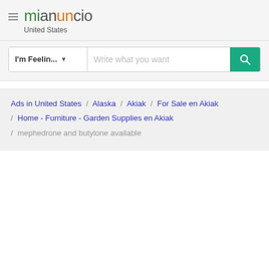mianuncio United States
I'm Feelin... | Write what you want
Ads in United States / Alaska / Akiak / For Sale en Akiak / Home - Furniture - Garden Supplies en Akiak / mephedrone and butylone available